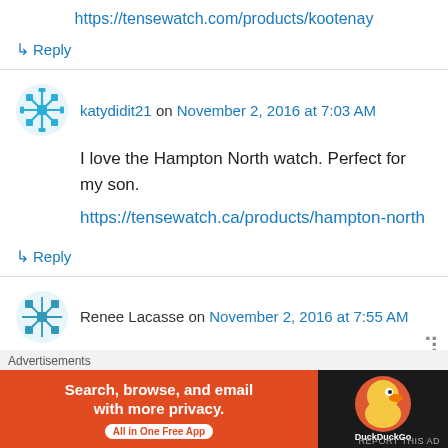https://tensewatch.com/products/kootenay
↳ Reply
katydidit21 on November 2, 2016 at 7:03 AM
I love the Hampton North watch. Perfect for my son.
https://tensewatch.ca/products/hampton-north
↳ Reply
Renee Lacasse on November 2, 2016 at 7:55 AM
I like the Moris in Dark Sandalwood
Advertisements
Search, browse, and email with more privacy. All in One Free App